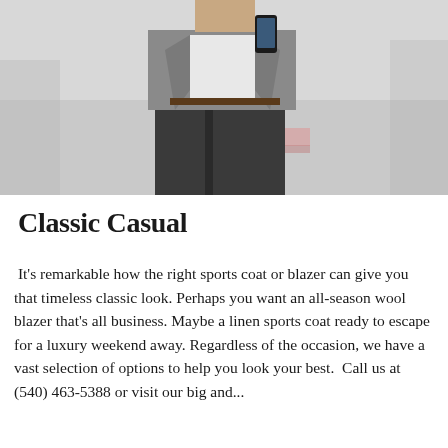[Figure (photo): A man wearing a grey blazer over a white shirt and dark trousers, holding a smartphone, standing outdoors on a light-coloured surface.]
Classic Casual
It's remarkable how the right sports coat or blazer can give you that timeless classic look. Perhaps you want an all-season wool blazer that's all business. Maybe a linen sports coat ready to escape for a luxury weekend away. Regardless of the occasion, we have a vast selection of options to help you look your best.  Call us at (540) 463-5388 or visit our big and ... store ...